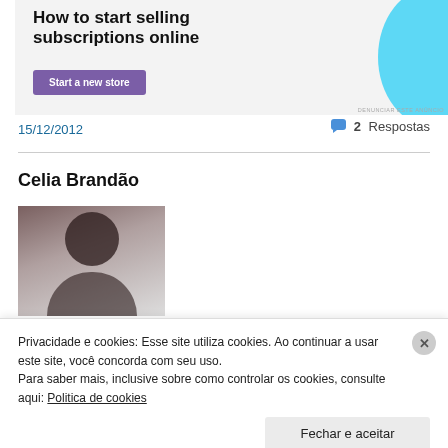[Figure (screenshot): Advertisement banner: 'How to start selling subscriptions online' with a purple 'Start a new store' button and a light blue decorative blob shape on the right]
15/12/2012
💬 2 Respostas
Celia Brandão
[Figure (photo): Photo of a dark-haired woman, partially visible, dark background]
Privacidade e cookies: Esse site utiliza cookies. Ao continuar a usar este site, você concorda com seu uso.
Para saber mais, inclusive sobre como controlar os cookies, consulte aqui: Politica de cookies
Fechar e aceitar